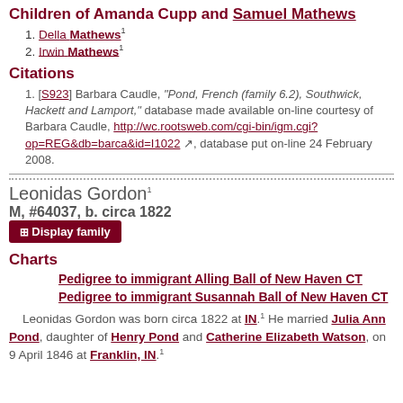Children of Amanda Cupp and Samuel Mathews
1. Della Mathews¹
2. Irwin Mathews¹
Citations
[S923] Barbara Caudle, "Pond, French (family 6.2), Southwick, Hackett and Lamport," database made available on-line courtesy of Barbara Caudle, http://wc.rootsweb.com/cgi-bin/igm.cgi?op=REG&db=barca&id=I1022, database put on-line 24 February 2008.
Leonidas Gordon¹
M, #64037, b. circa 1822
Display family
Charts
Pedigree to immigrant Alling Ball of New Haven CT
Pedigree to immigrant Susannah Ball of New Haven CT
Leonidas Gordon was born circa 1822 at IN.¹ He married Julia Ann Pond, daughter of Henry Pond and Catherine Elizabeth Watson, on 9 April 1846 at Franklin, IN.¹